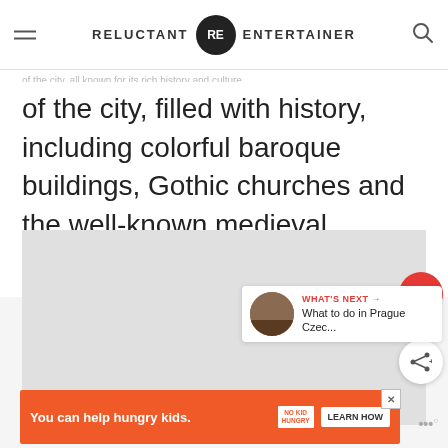RELUCTANT RE ENTERTAINER
of the city, filled with history, including colorful baroque buildings, Gothic churches and the well-known medieval Astronomical Clock.
[Figure (photo): Image placeholder area with floating heart button (103 likes) and share button]
WHAT'S NEXT → What to do in Prague Czec...
You can help hungry kids. NO KID HUNGRY LEARN HOW